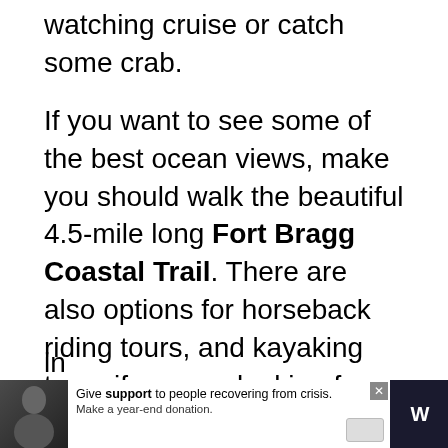watching cruise or catch some crab.
If you want to see some of the best ocean views, make you should walk the beautiful 4.5-mile long Fort Bragg Coastal Trail. There are also options for horseback riding tours, and kayaking tours if you are looking for a different kind of adventure.
For a taste of the local flavor, be sure to check out some of the great restaurants and cafes in town, or visit the popular North Coast Brewing Company. Whatever your interest...
[Figure (screenshot): Advertisement bar at the bottom: dark background on sides with a photo of a person on the left, white center area with text 'Give support to people recovering from crisis. Make a year-end donation.' and a close button. Right side shows partial text.]